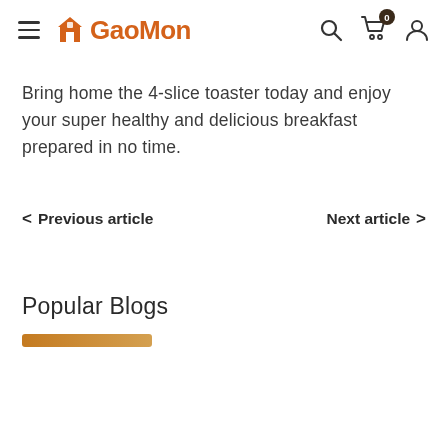GaoMon — navigation header with hamburger menu, logo, search, cart (0), and user icon
Bring home the 4-slice toaster today and enjoy your super healthy and delicious breakfast prepared in no time.
< Previous article    Next article >
Popular Blogs